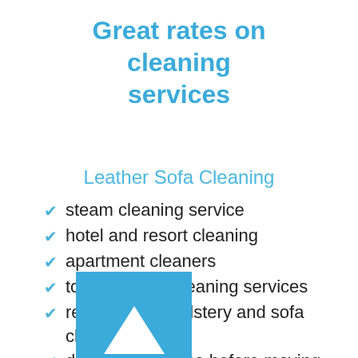Great rates on cleaning services
Leather Sofa Cleaning
steam cleaning service
hotel and resort cleaning
apartment cleaners
top to bottom cleaning services
residential upholstery and sofa cleaning
deep clean house before moving